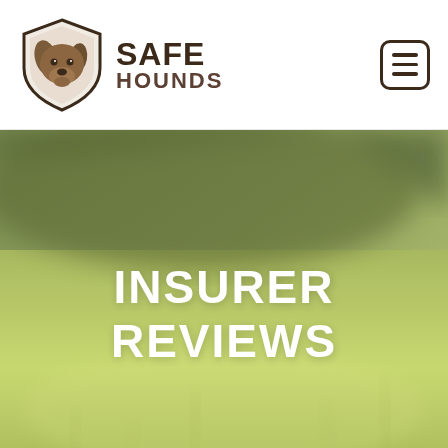[Figure (logo): Safe Hounds logo — shield shape with a dog head illustration in brown tones, next to bold text reading SAFE HOUNDS]
[Figure (photo): Blurred green grass field background photo with a diagonal darker green shadow area in the upper portion]
INSURER REVIEWS